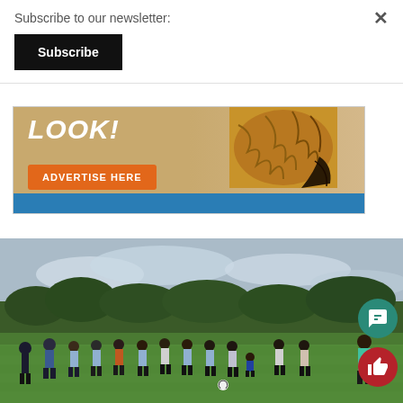Subscribe to our newsletter:
Subscribe
[Figure (illustration): Advertisement banner partially visible showing 'LOOK!' text, an owl image, blue border, and an orange 'ADVERTISE HERE' button]
[Figure (photo): Outdoor soccer/football training session with a group of children and young people standing in a circle on a grass field, trees and cloudy sky in the background]